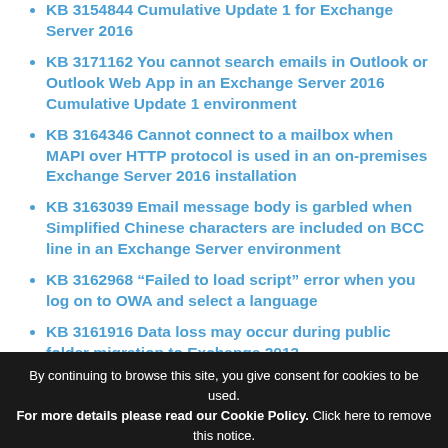KB 3154844 Cumulative Update 1 for Exchange Server 2016
KB 3171162 You cannot search emails in Outlook or Outlook Web App in an Exchange Server 2016 Cumulative Update 1 environment
KB 3164346 Cannot connect to a mailbox when MAPI over HTTP protocol is used in an on-premises Exchange Server 2016 installation
KB 3163039 Email message body is garbled when Simplified Chinese characters are included on BCC line in an Exchange Server environment
KB 3162968 “Failed to load script” error when you log on to OWA and select a language
KB 3161916 Data loss may occur during public folder migration to Exchange 2013,
By continuing to browse this site, you give consent for cookies to be used. For more details please read our Cookie Policy. Click here to remove this notice.